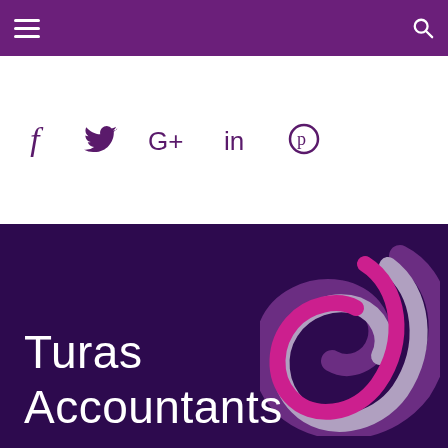[Figure (logo): Purple navigation bar with hamburger menu icon on left and search icon on right]
[Figure (infographic): Social media icons: Facebook (f), Twitter (bird), Google+, LinkedIn (in), Pinterest (p) in purple on white background]
[Figure (logo): Turas Accountants logo on dark purple background with decorative swirl graphic in purple/pink/grey on the right]